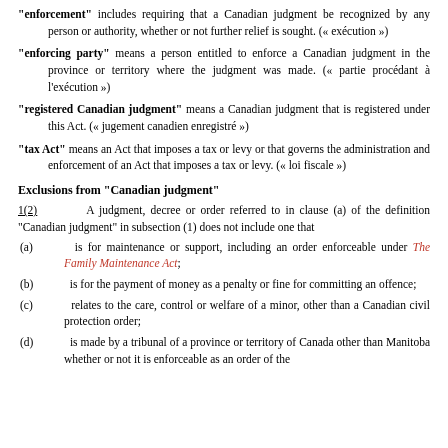"enforcement" includes requiring that a Canadian judgment be recognized by any person or authority, whether or not further relief is sought. (« exécution »)
"enforcing party" means a person entitled to enforce a Canadian judgment in the province or territory where the judgment was made. (« partie procédant à l'exécution »)
"registered Canadian judgment" means a Canadian judgment that is registered under this Act. (« jugement canadien enregistré »)
"tax Act" means an Act that imposes a tax or levy or that governs the administration and enforcement of an Act that imposes a tax or levy. (« loi fiscale »)
Exclusions from "Canadian judgment"
1(2)   A judgment, decree or order referred to in clause (a) of the definition "Canadian judgment" in subsection (1) does not include one that
(a)  is for maintenance or support, including an order enforceable under The Family Maintenance Act;
(b)  is for the payment of money as a penalty or fine for committing an offence;
(c)  relates to the care, control or welfare of a minor, other than a Canadian civil protection order;
(d)  is made by a tribunal of a province or territory of Canada other than Manitoba whether or not it is enforceable as an order of the